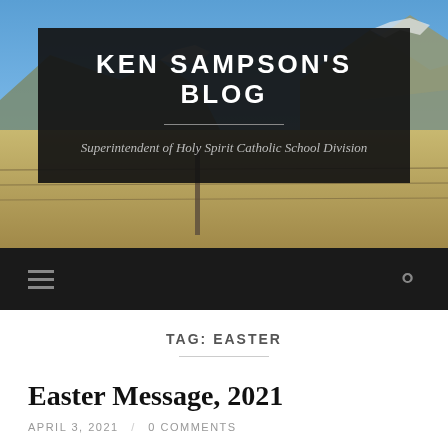[Figure (photo): Landscape photo showing blue sky, mountains in background, and a flat prairie field with dry grass in the foreground.]
KEN SAMPSON'S BLOG
Superintendent of Holy Spirit Catholic School Division
TAG: EASTER
Easter Message, 2021
APRIL 3, 2021 / 0 COMMENTS